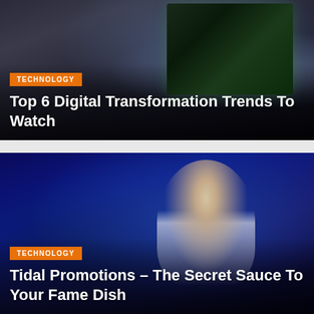[Figure (photo): Two people looking at a laptop with code on screen, dark office environment, viewed from behind]
Top 6 Digital Transformation Trends To Watch
[Figure (photo): Young man with beard wearing glasses and headphones, playing guitar and singing into a microphone in a blue-lit studio]
Tidal Promotions – The Secret Sauce To Your Fame Dish